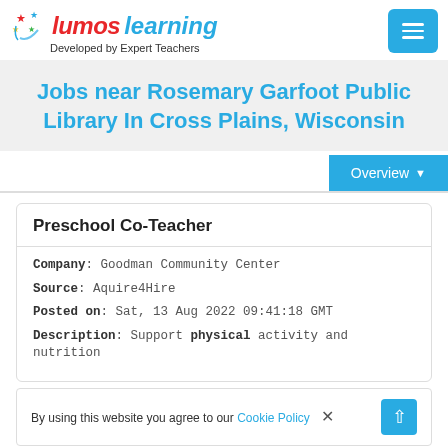[Figure (logo): Lumos Learning logo with colorful stars and text 'Developed by Expert Teachers']
Jobs near Rosemary Garfoot Public Library In Cross Plains, Wisconsin
Overview
Preschool Co-Teacher
Company: Goodman Community Center
Source: Aquire4Hire
Posted on: Sat, 13 Aug 2022 09:41:18 GMT
Description: Support physical activity and nutrition
By using this website you agree to our Cookie Policy ×